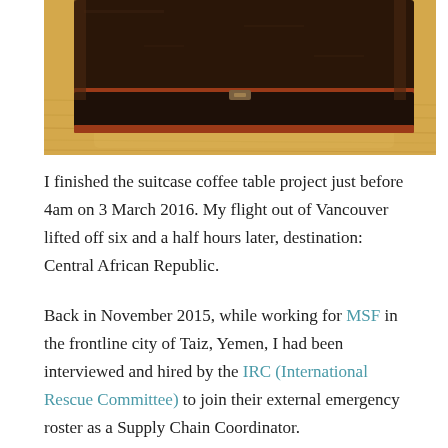[Figure (photo): A worn vintage suitcase or trunk with dark brown/black surface and reddish-brown trim, sitting on a light hardwood floor. The suitcase appears old and battered.]
I finished the suitcase coffee table project just before 4am on 3 March 2016. My flight out of Vancouver lifted off six and a half hours later, destination: Central African Republic.
Back in November 2015, while working for MSF in the frontline city of Taiz, Yemen, I had been interviewed and hired by the IRC (International Rescue Committee) to join their external emergency roster as a Supply Chain Coordinator.